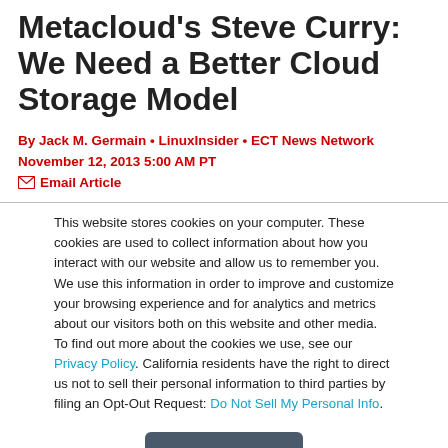Metacloud's Steve Curry: We Need a Better Cloud Storage Model
By Jack M. Germain • LinuxInsider • ECT News Network
November 12, 2013 5:00 AM PT
✉ Email Article
This website stores cookies on your computer. These cookies are used to collect information about how you interact with our website and allow us to remember you. We use this information in order to improve and customize your browsing experience and for analytics and metrics about our visitors both on this website and other media. To find out more about the cookies we use, see our Privacy Policy. California residents have the right to direct us not to sell their personal information to third parties by filing an Opt-Out Request: Do Not Sell My Personal Info.